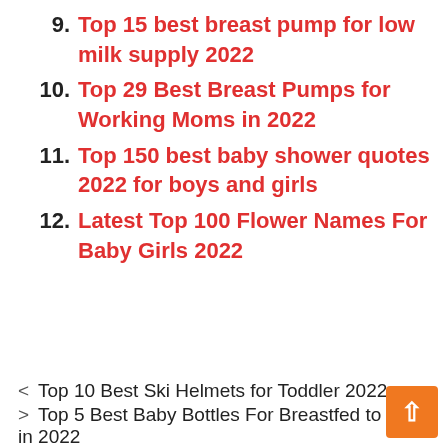9. Top 15 best breast pump for low milk supply 2022
10. Top 29 Best Breast Pumps for Working Moms in 2022
11. Top 150 best baby shower quotes 2022 for boys and girls
12. Latest Top 100 Flower Names For Baby Girls 2022
< Top 10 Best Ski Helmets for Toddler 2022
> Top 5 Best Baby Bottles For Breastfed to Buy in 2022